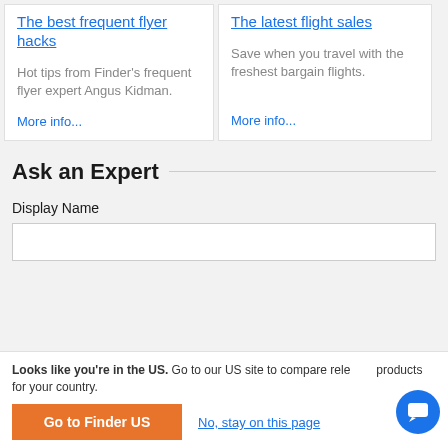The best frequent flyer hacks
Hot tips from Finder's frequent flyer expert Angus Kidman.
More info...
The latest flight sales
Save when you travel with the freshest bargain flights.
More info...
Ask an Expert
Display Name
Looks like you're in the US. Go to our US site to compare relevant products for your country.
Go to Finder US
No, stay on this page